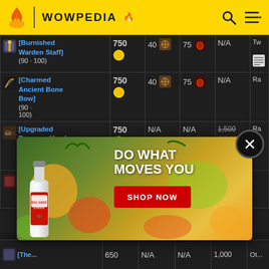WOWPEDIA
| Item | Cost | Reagent 1 | Reagent 2 | Source | Info |
| --- | --- | --- | --- | --- | --- |
| [Burnished Warden Staff] (90 · 100) | 750 gold | 40 [flower icon] | 75 [berry icon] | N/A | Tw... |
| [Charmed Ancient Bone Bow] (90 · 100) | 750 gold | 40 [flower icon] | 75 [berry icon] | N/A | Ra... |
| [Upgraded Dwarven Hand Cannon] (90 · 100) | 750 gold | N/A | N/A | 1,500 [alliance][horde] | Ra... |
| [Sha... Scarla...] (90 · ...) |  |  |  |  | On... Ha... |
| [The...] | 650 | N/A | N/A | 1,000 | Ot... |
[Figure (advertisement): Bacardi rum advertisement: 'DO WHAT MOVES YOU' with SHOP NOW button, fruit background]